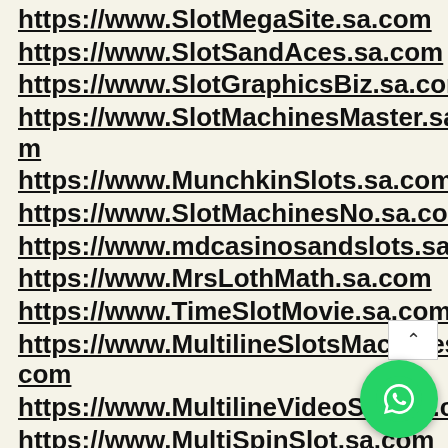https://www.SlotMegaSite.sa.com
https://www.SlotSandAces.sa.com
https://www.SlotGraphicsBiz.sa.com
https://www.SlotMachinesMaster.sa.com
https://www.MunchkinSlots.sa.com
https://www.SlotMachinesNo.sa.com
https://www.mdcasinosandslots.sa.com
https://www.MrsLothMath.sa.com
https://www.TimeSlotMovie.sa.com
https://www.MultilineSlotsMachines.sa.com
https://www.MultilineVideoSlot.sa.com
https://www.MultiSpinSlot.sa.com
https://www.SwissLotTryResults.sa.c
https://www.BuyCheapSlotMachine...com
https://www.ShamrockSlot.sa.com